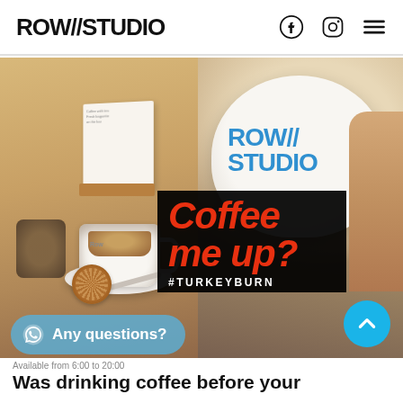ROW//STUDIO
[Figure (photo): Two-panel photo collage: left panel shows an espresso cup with a stroopwafel cookie on a saucer on a wooden table with a candle and a small menu card; right panel shows a branded ROW//STUDIO bowl/cup being held. Overlaid text reads 'Coffee me up? #TURKEYBURN' on a black background banner.]
Any questions?
Available from 6:00 to 20:00
Was drinking coffee before your